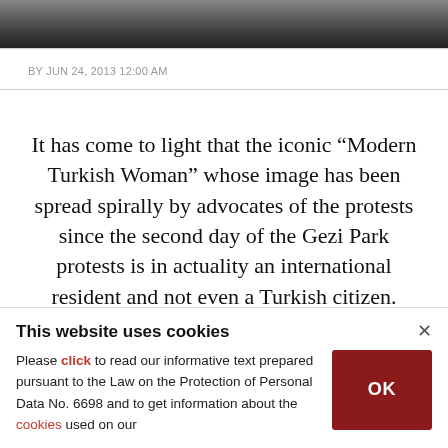[Figure (photo): Partial photo strip at top of page showing people, dark toned image cropped]
BY JUN 24, 2013 12:00 AM
It has come to light that the iconic “Modern Turkish Woman” whose image has been spread spirally by advocates of the protests since the second day of the Gezi Park protests is in actuality an international resident and not even a Turkish citizen.
This website uses cookies
Please click to read our informative text prepared pursuant to the Law on the Protection of Personal Data No. 6698 and to get information about the cookies used on our